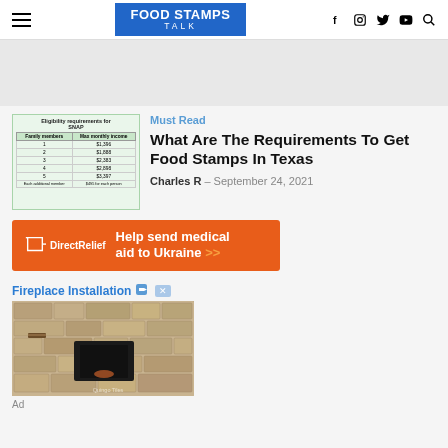FOOD STAMPS TALK
[Figure (screenshot): Thumbnail image of SNAP eligibility requirements table showing family members and max monthly income values]
Must Read
What Are The Requirements To Get Food Stamps In Texas
Charles R – September 24, 2021
[Figure (infographic): Orange Direct Relief advertisement banner: Help send medical aid to Ukraine >>]
Fireplace Installation
[Figure (photo): Stone fireplace installation photo with Quingo Tiles watermark]
Ad